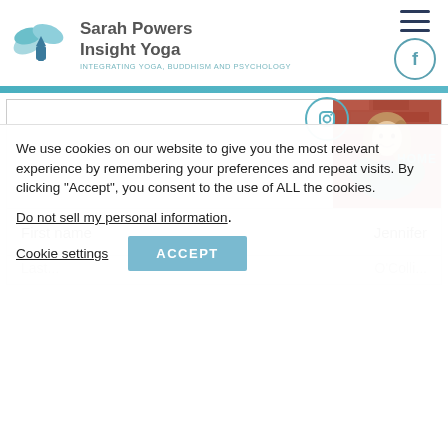Sarah Powers Insight Yoga — INTEGRATING YOGA, BUDDHISM AND PSYCHOLOGY
[Figure (photo): Profile photo of a woman smiling, seated against a brick wall background, wearing a teal jacket]
| Field | Value |
| --- | --- |
| First name | Jennifer |
| Last name | O'Collins (partial) |
We use cookies on our website to give you the most relevant experience by remembering your preferences and repeat visits. By clicking “Accept”, you consent to the use of ALL the cookies.
Do not sell my personal information.
Cookie settings  ACCEPT